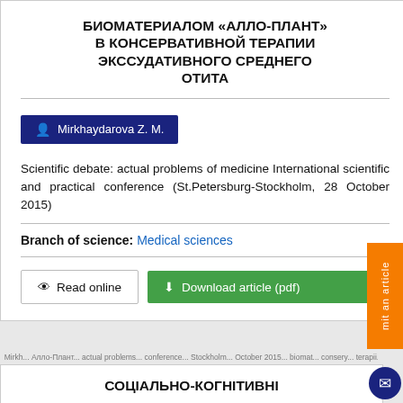БИОМАТЕРИАЛОМ «АЛЛО-ПЛАНТ» В КОНСЕРВАТИВНОЙ ТЕРАПИИ ЭКССУДАТИВНОГО СРЕДНЕГО ОТИТА
Mirkhaydarova Z. M.
Scientific debate: actual problems of medicine International scientific and practical conference (St.Petersburg-Stockholm, 28 October 2015)
Branch of science: Medical sciences
Read online
Download article (pdf)
СОЦІАЛЬНО-КОГНІТИВНІ